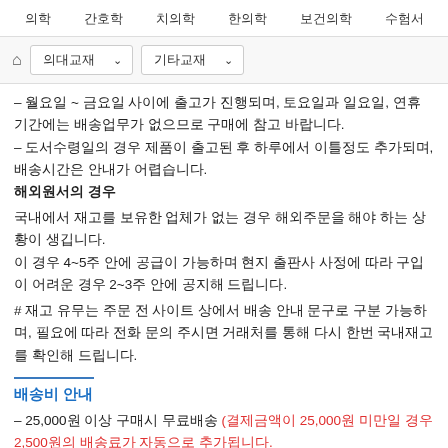의학  간호학  치의학  한의학  보건의학  수험서
의대교재  기타교재
– 월요일 ~ 금요일 사이에 출고가 진행되며, 토요일과 일요일, 연휴기간에는 배송업무가 없으므로 구매에 참고 바랍니다.
– 도서수령일의 경우 제품이 출고된 후 하루에서 이틀정도 추가되며, 배송시간은 안내가 어렵습니다.
해외원서의 경우
국내에서 재고를 보유한 업체가 없는 경우 해외주문을 해야 하는 상황이 생깁니다.
이 경우 4~5주 안에 공급이 가능하며 현지 출판사 사정에 따라 구입이 어려운 경우 2~3주 안에 공지해 드립니다.
# 재고 유무는 주문 전 사이트 상에서 배송 안내 문구로 구분 가능하며, 필요에 따라 전화 문의 주시면 거래처를 통해 다시 한번 국내재고를 확인해 드립니다.
배송비 안내
– 25,000원 이상 구매시 무료배송 (결제금액이 25,000원 미만일 경우 2,500원의 배송료가 자동으로 추가됩니다.
– 반품/취소.환불 시 배송비는 최소 무료 배송이 되었을 경우, 처음 발생한 배송